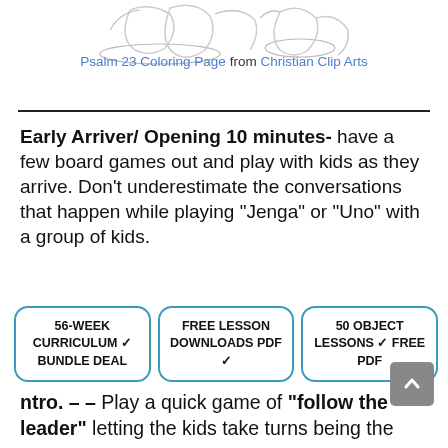[Figure (illustration): Partial coloring page illustration showing feet/legs of figures, cropped at top of page]
Psalm 23 Coloring Page from Christian Clip Arts
Early Arriver/ Opening 10 minutes- have a few board games out and play with kids as they arrive. Don’t underestimate the conversations that happen while playing “Jenga” or “Uno” with a group of kids.
56-WEEK CURRICULUM ✓ BUNDLE DEAL
FREE LESSON DOWNLOADS PDF ✓
50 OBJECT LESSONS ✓ FREE PDF
ntro. – – Play a quick game of “follow the leader” letting the kids take turns being the